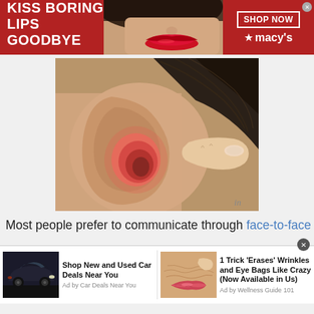[Figure (photo): Advertisement banner for Macy's: dark red/maroon background with a woman's face showing red lips. Text reads 'KISS BORING LIPS GOODBYE' with 'SHOP NOW' button and Macy's star logo.]
[Figure (photo): Close-up photo of a human ear with redness/inflammation, a finger pressing near the ear canal. Hair visible in background.]
Most people prefer to communicate through face-to-face
[Figure (photo): Bottom ad strip with two ads: 1) Car image with text 'Shop New and Used Car Deals Near You' Ad by Car Deals Near You. 2) Close-up lip image with text '1 Trick Erases Wrinkles and Eye Bags Like Crazy (Now Available in Us)' Ad by Wellness Guide 101.]